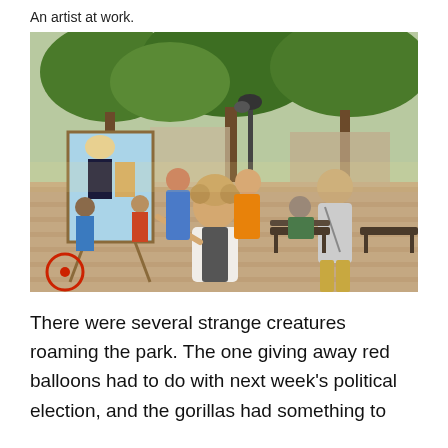An artist at work.
[Figure (photo): An artist painting on an easel in a park plaza, with people walking around, trees, and a street lamp in the background. The painter, seated with curly hair and a vest, points at a canvas showing figures in formal wear. A man with a camera stands nearby.]
There were several strange creatures roaming the park. The one giving away red balloons had to do with next week's political election, and the gorillas had something to